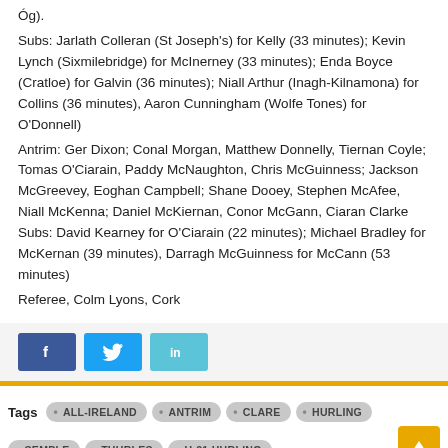Óg).
Subs: Jarlath Colleran (St Joseph's) for Kelly (33 minutes); Kevin Lynch (Sixmilebridge) for McInerney (33 minutes); Enda Boyce (Cratloe) for Galvin (36 minutes); Niall Arthur (Inagh-Kilnamona) for Collins (36 minutes), Aaron Cunningham (Wolfe Tones) for O'Donnell)
Antrim: Ger Dixon; Conal Morgan, Matthew Donnelly, Tiernan Coyle; Tomas O'Ciarain, Paddy McNaughton, Chris McGuinness; Jackson McGreevey, Eoghan Campbell; Shane Dooey, Stephen McAfee, Niall McKenna; Daniel McKiernan, Conor McGann, Ciaran Clarke Subs: David Kearney for O'Ciarain (22 minutes); Michael Bradley for McKernan (39 minutes), Darragh McGuinness for McCann (53 minutes)
Referee, Colm Lyons, Cork
[Figure (other): Social media share buttons: Facebook (blue), Twitter (light blue), LinkedIn (teal)]
ALL-IRELAND
ANTRIM
CLARE
HURLING
SEMPLE
THURLES
U-21 HURLING